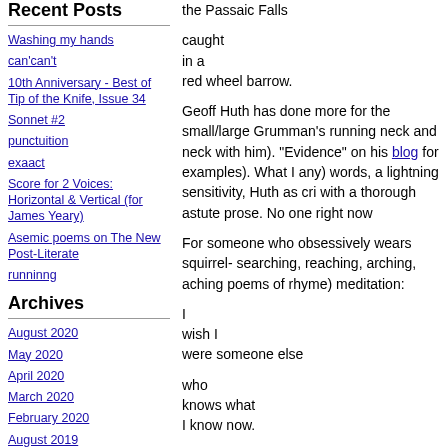Recent Posts
Washing my hands
can'can't
10th Anniversary - Best of Tip of the Knife, Issue 34
Sonnet #2
punctuition
exaact
Score for 2 Voices: Horizontal & Vertical (for James Yeary)
Asemic poems on The New Post-Literate
runninng
Archives
August 2020
May 2020
April 2020
March 2020
February 2020
August 2019
July 2019
April 2019
January 2019
November 2018
More...
the Passaic Falls
caught
in a
red wheel barrow.
Geoff Huth has done more for the small/large Grumman's running neck and neck with him). "Evidence" on his blog for examples). What I any) words, a lightning sensitivity, Huth as cri with a thorough astute prose. No one right now
For someone who obsessively wears squirrel- searching, reaching, arching, aching poems of rhyme) meditation:
I
wish I
were someone else
who
knows what
I know now.
Who
knows what
I know now?
Visit his blog for more poems (and pranks). M due soon from Generator, Vanishing Points of